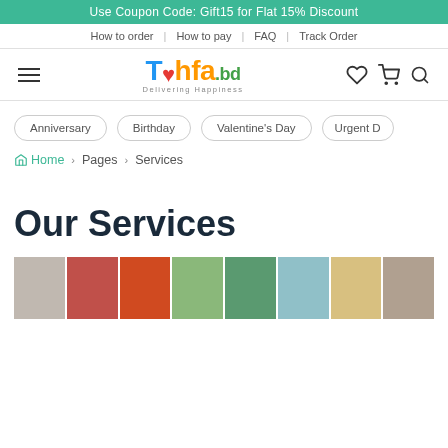Use Coupon Code: Gift15 for Flat 15% Discount
How to order | How to pay | FAQ | Track Order
[Figure (logo): Tohfa.bd logo with colorful text and heart icon, tagline: Delivering Happiness]
Anniversary | Birthday | Valentine's Day | Urgent D...
Home > Pages > Services
Our Services
[Figure (photo): Strip of gift and flower delivery photos]